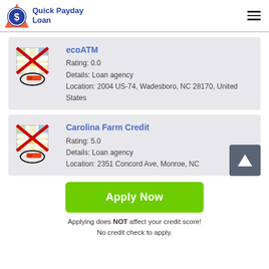Quick Payday Loan
ecoATM
Rating: 0.0
Details: Loan agency
Location: 2004 US-74, Wadesboro, NC 28170, United States
Carolina Farm Credit
Rating: 5.0
Details: Loan agency
Location: 2351 Concord Ave, Monroe, NC
Apply Now
Applying does NOT affect your credit score!
No credit check to apply.